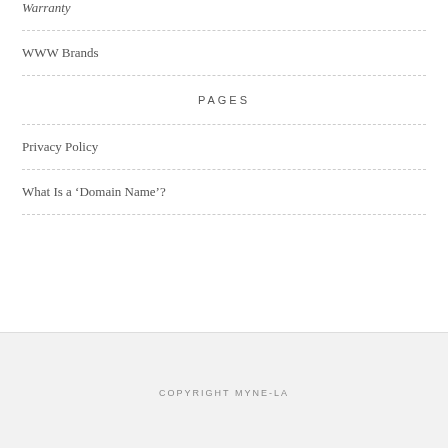Warranty
WWW Brands
PAGES
Privacy Policy
What Is a ‘Domain Name’?
COPYRIGHT MYNE-LA